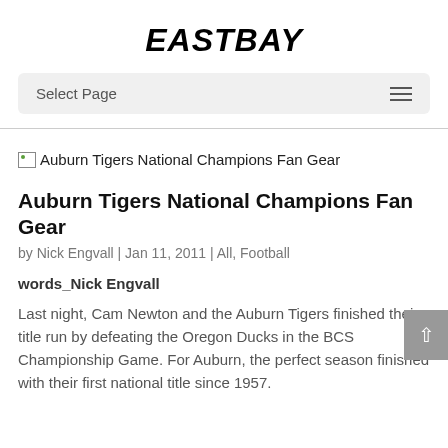EASTBAY
Select Page
[Figure (illustration): Broken image placeholder with alt text: Auburn Tigers National Champions Fan Gear]
Auburn Tigers National Champions Fan Gear
by Nick Engvall | Jan 11, 2011 | All, Football
words_Nick Engvall
Last night, Cam Newton and the Auburn Tigers finished their title run by defeating the Oregon Ducks in the BCS Championship Game. For Auburn, the perfect season finished with their first national title since 1957.